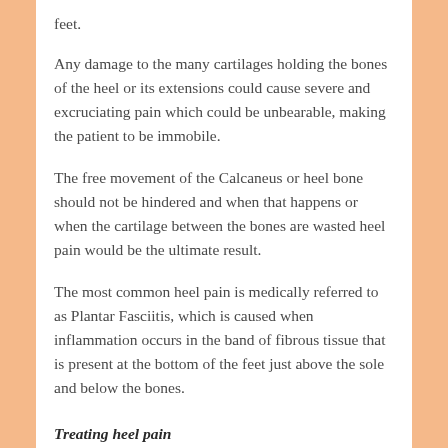feet.
Any damage to the many cartilages holding the bones of the heel or its extensions could cause severe and excruciating pain which could be unbearable, making the patient to be immobile.
The free movement of the Calcaneus or heel bone should not be hindered and when that happens or when the cartilage between the bones are wasted heel pain would be the ultimate result.
The most common heel pain is medically referred to as Plantar Fasciitis, which is caused when inflammation occurs in the band of fibrous tissue that is present at the bottom of the feet just above the sole and below the bones.
Treating heel pain